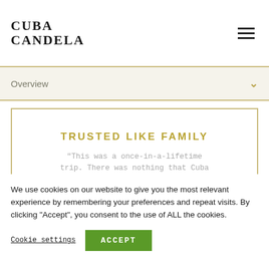Cuba Candela
Overview
TRUSTED LIKE FAMILY
“This was a once-in-a-lifetime trip. There was nothing that Cuba
We use cookies on our website to give you the most relevant experience by remembering your preferences and repeat visits. By clicking “Accept”, you consent to the use of ALL the cookies.
Cookie settings
ACCEPT